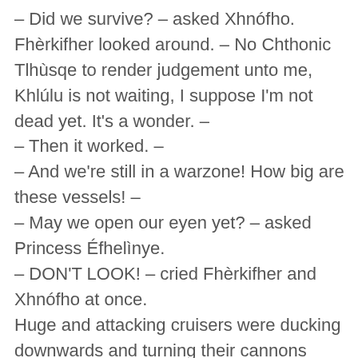– Did we survive? – asked Xhnófho. Fhèrkifher looked around. – No Chthonic Tlhùsqe to render judgement unto me, Khlúlu is not waiting, I suppose I'm not dead yet. It's a wonder. –
– Then it worked. –
– And we're still in a warzone! How big are these vessels! –
– May we open our eyen yet? – asked Princess Éfhelìnye.
– DON'T LOOK! – cried Fhèrkifher and Xhnófho at once.
Huge and attacking cruisers were ducking downwards and turning their cannons towards the heavens now crowded with bombs and raiders, and Xhnófho was drawing their fleeing vessel up and higher and trying to duck and